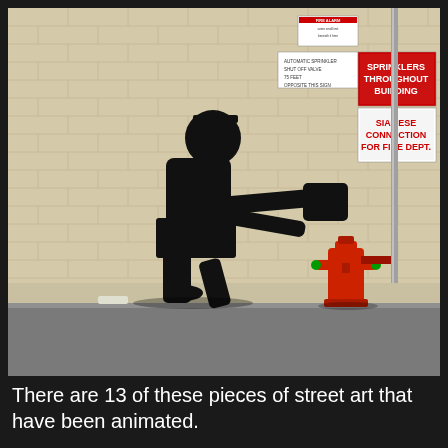[Figure (photo): Street art (Banksy-style stencil) of a boy silhouette swinging a large sledgehammer toward a red fire hydrant, painted on a beige brick wall. Above the hydrant are several signs including 'SPRINKLERS THROUGHOUT BUILDING' and 'SIAMESE CONNECTION FOR FIRE DEPT.' A vertical red pipe runs along the wall. The sidewalk is visible at the bottom.]
There are 13 of these pieces of street art that have been animated.